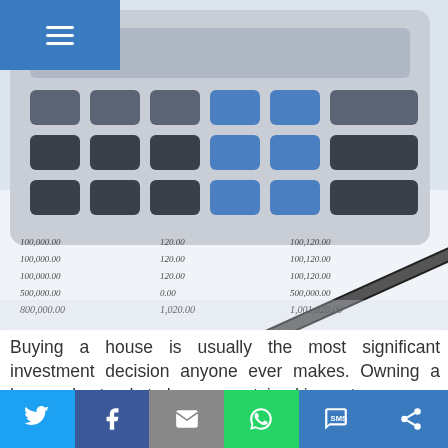≡
[Figure (photo): A calculator, pen, and financial document with numbers on a desk — representing financial planning and investment calculation.]
Buying a house is usually the most significant investment decision anyone ever makes. Owning a house also tends to have an outsized impact on a
Twitter | Facebook | Email | WhatsApp | SMS | ShareThis